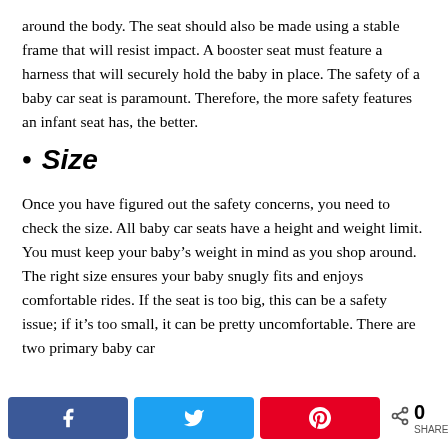around the body. The seat should also be made using a stable frame that will resist impact. A booster seat must feature a harness that will securely hold the baby in place. The safety of a baby car seat is paramount. Therefore, the more safety features an infant seat has, the better.
• Size
Once you have figured out the safety concerns, you need to check the size. All baby car seats have a height and weight limit. You must keep your baby's weight in mind as you shop around. The right size ensures your baby snugly fits and enjoys comfortable rides. If the seat is too big, this can be a safety issue; if it's too small, it can be pretty uncomfortable. There are two primary baby car